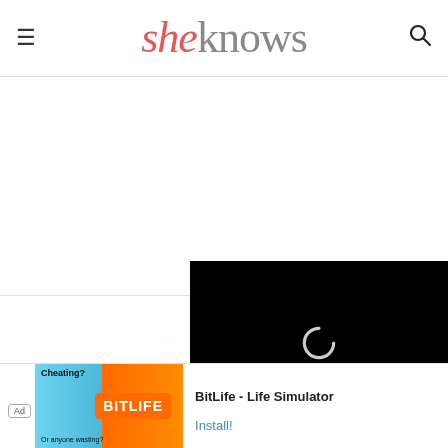sheknows
[Figure (screenshot): Video player with black background showing a loading spinner, progress bar, and controls including mute, timestamp 13:52, CC button, and fullscreen button]
4. Brighten up your
[Figure (infographic): Advertisement banner for BitLife - Life Simulator app showing Ad badge, colorful game artwork, app name and Install button]